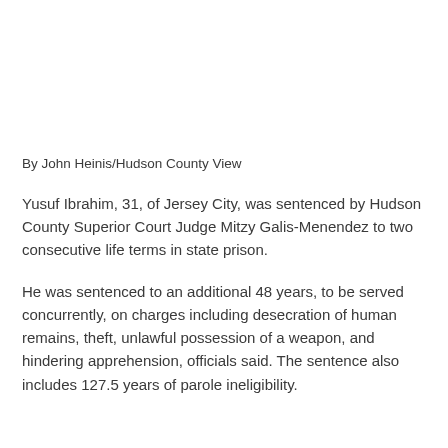By John Heinis/Hudson County View
Yusuf Ibrahim, 31, of Jersey City, was sentenced by Hudson County Superior Court Judge Mitzy Galis-Menendez to two consecutive life terms in state prison.
He was sentenced to an additional 48 years, to be served concurrently, on charges including desecration of human remains, theft, unlawful possession of a weapon, and hindering apprehension, officials said. The sentence also includes 127.5 years of parole ineligibility.